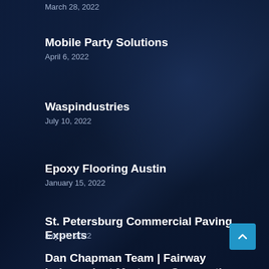March 28, 2022
Mobile Party Solutions
April 6, 2022
Waspindustries
July 10, 2022
Epoxy Flooring Austin
January 15, 2022
St. Petersburg Commercial Paving Experts
July 27, 2022
Dan Chapman Team | Fairway Independent Mortgage Corporation